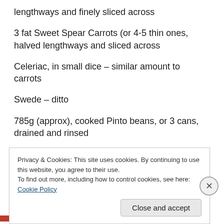lengthways and finely sliced across
3 fat Sweet Spear Carrots (or 4-5 thin ones, halved lengthways and sliced across
Celeriac, in small dice – similar amount to carrots
Swede – ditto
785g (approx), cooked Pinto beans, or 3 cans, drained and rinsed
250g frozen Broccoli florets, defrosted (if in a hurry put in a
Privacy & Cookies: This site uses cookies. By continuing to use this website, you agree to their use.
To find out more, including how to control cookies, see here: Cookie Policy
Close and accept